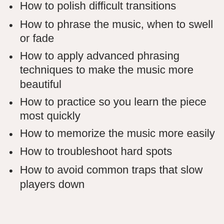How to polish difficult transitions
How to phrase the music, when to swell or fade
How to apply advanced phrasing techniques to make the music more beautiful
How to practice so you learn the piece most quickly
How to memorize the music more easily
How to troubleshoot hard spots
How to avoid common traps that slow players down